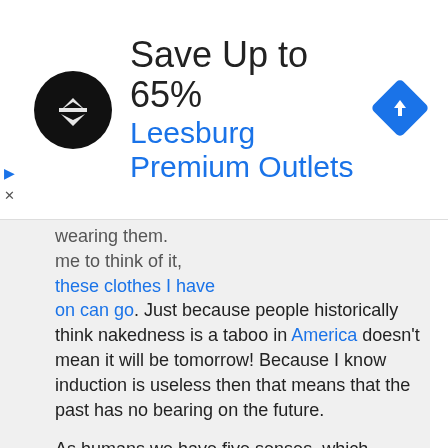[Figure (screenshot): Advertisement banner: black circular logo with double-arrow icon, headline 'Save Up to 65%', subheadline 'Leesburg Premium Outlets' in blue, blue diamond navigation icon on right, close/ad controls on left]
wearing them. me to think of it, these clothes I have on can go. Just because people historically think nakedness is a taboo in America doesn't mean it will be tomorrow! Because I know induction is useless then that means that the past has no bearing on the future.

As humans we have five senses, which constitute a limited set of data. If we cannot induce generalities from a limited set of data, then we are crippled. If induction is useless, than so are